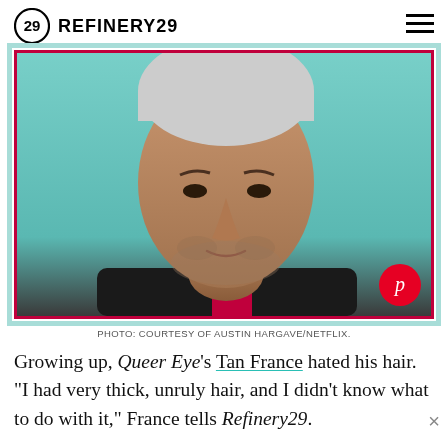REFINERY29
[Figure (photo): Close-up portrait of Tan France, a man with short gray/white hair and stubble, against a teal background, wearing a black and red top. A Pinterest button appears in the bottom right corner of the image.]
PHOTO: COURTESY OF AUSTIN HARGAVE/NETFLIX.
Growing up, Queer Eye's Tan France hated his hair. "I had very thick, unruly hair, and I didn't know what to do with it," France tells Refinery29.